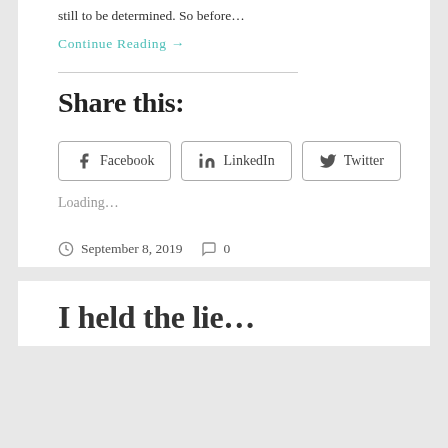still to be determined. So before…
Continue Reading →
Share this:
Facebook  LinkedIn  Twitter
Loading…
September 8, 2019   0
I held the lie…